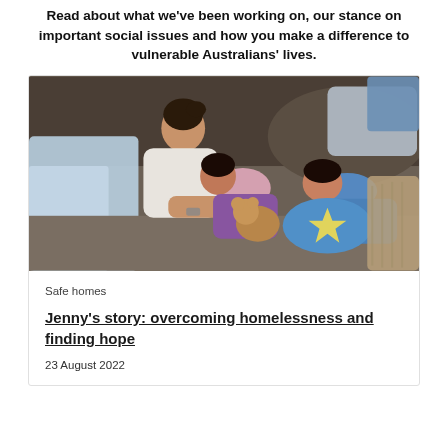Read about what we've been working on, our stance on important social issues and how you make a difference to vulnerable Australians' lives.
[Figure (photo): A woman and two young children sleeping/resting on a couch with blankets and a stuffed bear, depicting a family in a difficult housing situation.]
Safe homes
Jenny's story: overcoming homelessness and finding hope
23 August 2022